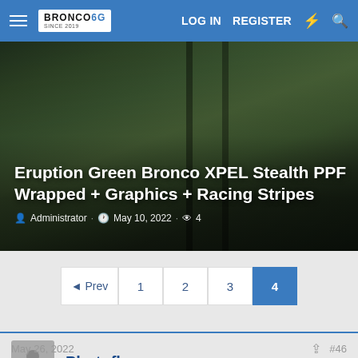Bronco6G.com — LOG IN  REGISTER
[Figure (photo): Close-up of an Eruption Green Ford Bronco hood with XPEL Stealth PPF wrap showing dark racing stripes running down the center of the hood]
Eruption Green Bronco XPEL Stealth PPF Wrapped + Graphics + Racing Stripes
Administrator · May 10, 2022 · 4
◄Prev  1  2  3  4
Photoflow
May 26, 2022
#46